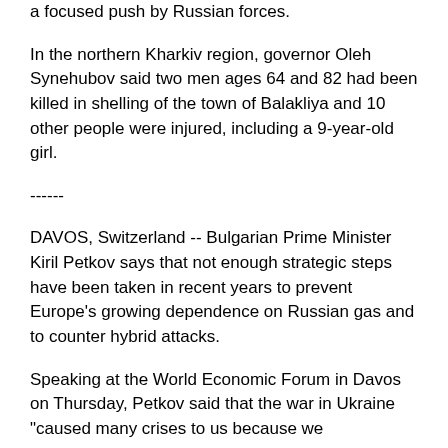a focused push by Russian forces.
In the northern Kharkiv region, governor Oleh Synehubov said two men ages 64 and 82 had been killed in shelling of the town of Balakliya and 10 other people were injured, including a 9-year-old girl.
------
DAVOS, Switzerland -- Bulgarian Prime Minister Kiril Petkov says that not enough strategic steps have been taken in recent years to prevent Europe's growing dependence on Russian gas and to counter hybrid attacks.
Speaking at the World Economic Forum in Davos on Thursday, Petkov said that the war in Ukraine "caused many crises to us because we